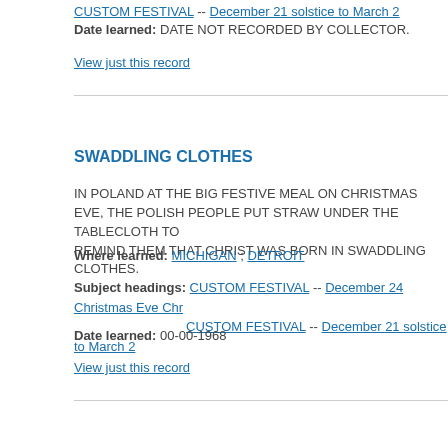CUSTOM FESTIVAL -- December 21 solstice to March 2
Date learned: DATE NOT RECORDED BY COLLECTOR.
View just this record
SWADDLING CLOTHES
IN POLAND AT THE BIG FESTIVE MEAL ON CHRISTMAS EVE, THE POLISH PEOPLE PUT STRAW UNDER THE TABLECLOTH TO REMIND THEM THAT CHRIST WAS BORN IN SWADDLING CLOTHES.
Where learned: MICHIGAN ; DETROIT
Subject headings: CUSTOM FESTIVAL -- December 24 Christmas Eve Chr... CUSTOM FESTIVAL -- December 21 solstice to March 2
Date learned: 00-00-1968
View just this record